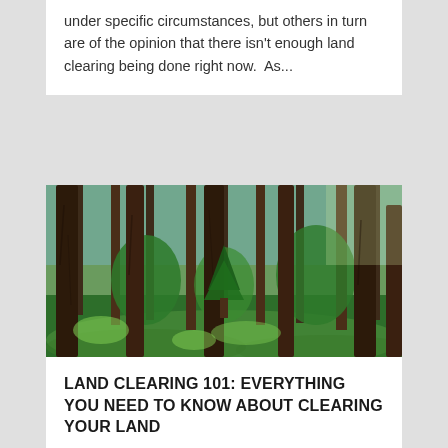under specific circumstances, but others in turn are of the opinion that there isn't enough land clearing being done right now.  As...
[Figure (photo): A forest scene with tall pine trees and lush green undergrowth lit by sunlight]
LAND CLEARING 101: EVERYTHING YOU NEED TO KNOW ABOUT CLEARING YOUR LAND
Sep 18, 2020 | Land Clearing